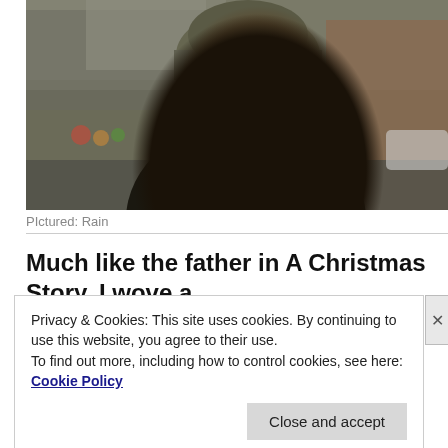[Figure (photo): A man wearing a greenish-grey beanie hat and round glasses, looking at the camera with a surprised or expressive face. He is outdoors on a city street with blurred buildings in the background. He wears a dark jacket.]
PIctured: Rain
Much like the father in A Christmas Story, I wove a
Privacy & Cookies: This site uses cookies. By continuing to use this website, you agree to their use.
To find out more, including how to control cookies, see here: Cookie Policy
Close and accept